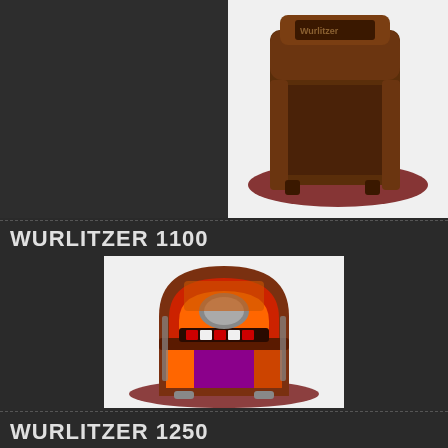[Figure (photo): Partial view of a vintage wooden jukebox (top portion), dark wood cabinet with ornate detailing, on a dark red elliptical shadow base, white background image area]
WURLITZER 1100
[Figure (photo): Wurlitzer 1100 jukebox with glowing red, orange, and purple illuminated plastic panels, arched top, chrome accents, mechanical record changer visible, on a dark red elliptical shadow base, white background image area]
WURLITZER 1250